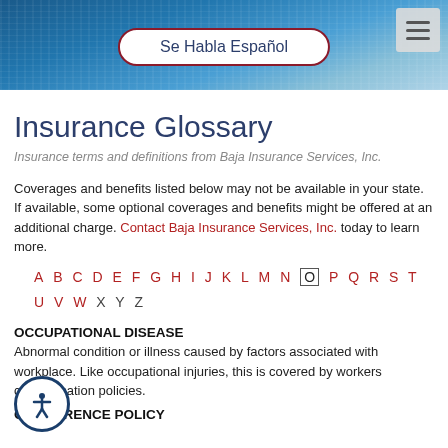[Figure (photo): Blue water/ocean background header image with 'Se Habla Español' button overlay and hamburger menu]
Insurance Glossary
Insurance terms and definitions from Baja Insurance Services, Inc.
Coverages and benefits listed below may not be available in your state. If available, some optional coverages and benefits might be offered at an additional charge. Contact Baja Insurance Services, Inc. today to learn more.
A B C D E F G H I J K L M N O P Q R S T U V W X Y Z
OCCUPATIONAL DISEASE
Abnormal condition or illness caused by factors associated with workplace. Like occupational injuries, this is covered by workers compensation policies.
OCCURRENCE POLICY